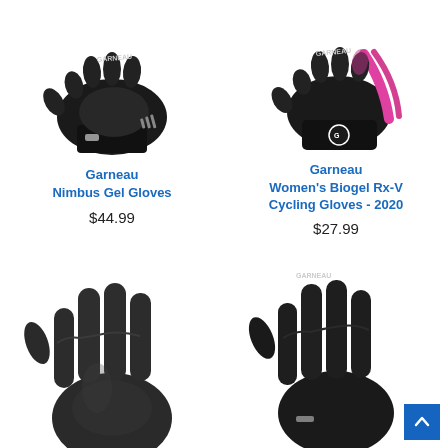[Figure (photo): Black Garneau Nimbus Gel fingerless cycling glove, palm-side view showing textured grip area and reflective stripe]
Garneau
Nimbus Gel Gloves
$44.99
[Figure (photo): Black and pink Garneau Women's Biogel Rx-V fingerless cycling glove with pink accent stripe and Garneau logo]
Garneau
Women's Biogel Rx-V Cycling Gloves - 2020
$27.99
[Figure (photo): Black full-finger cycling glove, partially cropped at bottom of page]
[Figure (photo): Black Garneau full-finger cycling glove, partially cropped at bottom of page with blue scroll-to-top button overlay]